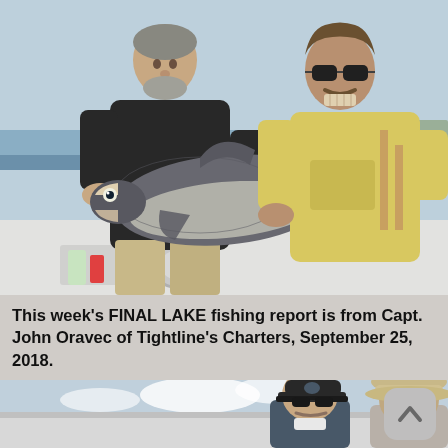[Figure (photo): Two men on a boat holding a large fish (salmon/lake trout). The man on the left wears a black shirt, the man on the right wears a yellow t-shirt and sunglasses, making a grimacing expression as the fish faces his face. Lake visible in background.]
This week's FINAL LAKE fishing report is from Capt. John Oravec of Tightline's Charters, September 25, 2018.
[Figure (photo): Two people on a boat: a man wearing a dark cap and sunglasses on the left, and a woman wearing a tan sun hat and sunglasses on the right. Sky with clouds in background. A scroll-up UI button is visible in the lower right corner.]